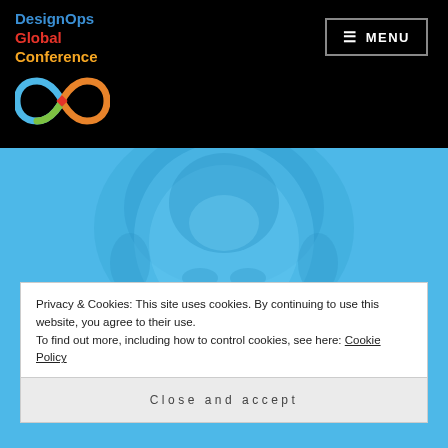DesignOps Global Conference — MENU navigation header
[Figure (logo): DesignOps Global Conference logo with colorful infinity symbol on black background]
[Figure (photo): Blue-tinted photo of a person's head/face (close-up overhead view), tinted in bright sky blue]
Privacy & Cookies: This site uses cookies. By continuing to use this website, you agree to their use.
To find out more, including how to control cookies, see here: Cookie Policy
Close and accept